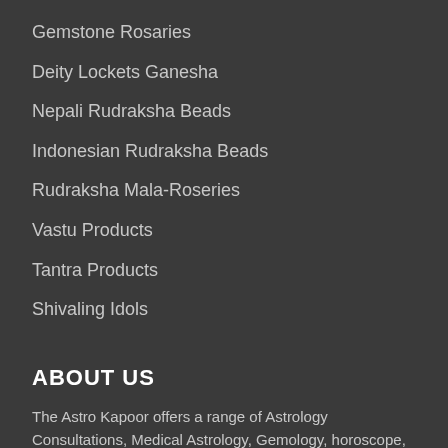Gemstone Rosaries
Deity Lockets Ganesha
Nepali Rudraksha Beads
Indonesian Rudraksha Beads
Rudraksha Mala-Roseries
Vastu Products
Tantra Products
Shivaling Idols
ABOUT US
The Astro Kapoor offers a range of Astrology Consultations, Medical Astrology, Gemology, horoscope, Match making, predictions, Vaastu, astrological remedies. Read More
NEWSLETTER